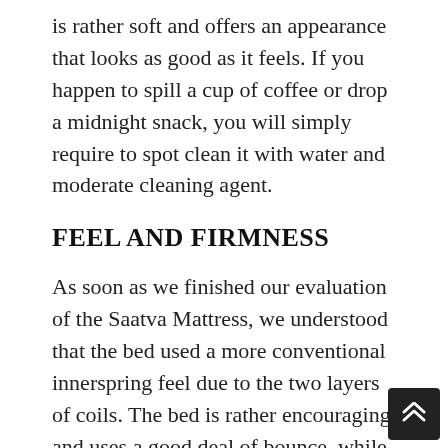is rather soft and offers an appearance that looks as good as it feels. If you happen to spill a cup of coffee or drop a midnight snack, you will simply require to spot clean it with water and moderate cleaning agent.
FEEL AND FIRMNESS
As soon as we finished our evaluation of the Saatva Mattress, we understood that the bed used a more conventional innerspring feel due to the two layers of coils. The bed is rather encouraging and uses a good deal of bounce, while the Euro pillow leading brings an aspect of convenience never to be found on older mattresses. The mattress is also responsive and encouraging of the body and it is quite easy to change in between various sleeping positions.
Saatva is rather popular due to the three different